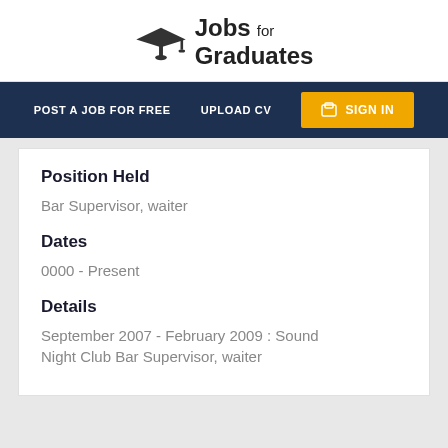[Figure (logo): Jobs for Graduates logo with graduation cap icon]
POST A JOB FOR FREE   UPLOAD CV   SIGN IN
Position Held
Bar Supervisor, waiter
Dates
0000 - Present
Details
September 2007 - February 2009 : Sound Night Club Bar Supervisor, waiter